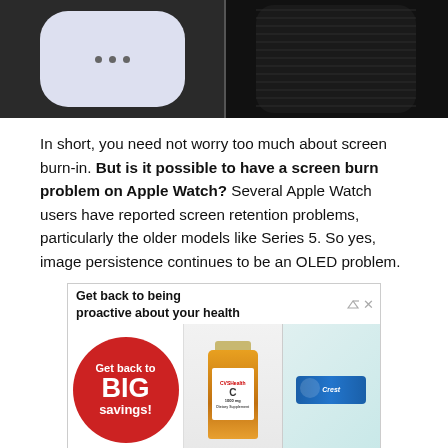[Figure (photo): Two device screens side by side: left shows a smartphone with a white screen and three dots, right shows a dark smartwatch with mesh/speaker grille visible]
In short, you need not worry too much about screen burn-in. But is it possible to have a screen burn problem on Apple Watch? Several Apple Watch users have reported screen retention problems, particularly the older models like Series 5. So yes, image persistence continues to be an OLED problem.
[Figure (screenshot): Advertisement banner: CVS Health ad with red circle saying 'Get back to BIG savings!' and images of vitamin C bottle and Crest toothpaste, headline reads 'Get back to being proactive about your health']
[Figure (screenshot): Small bottom stub/partial advertisement element]